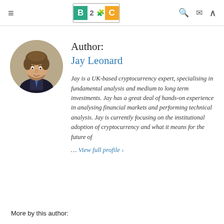B2C (logo) — navigation header with hamburger menu, search, mail, and up icons
[Figure (photo): Circular profile photo of Jay Leonard, a young man with curly hair wearing a suit and tie, against a beige background]
Author:
Jay Leonard
Jay is a UK-based cryptocurrency expert, specialising in fundamental analysis and medium to long term investments. Jay has a great deal of hands-on experience in analysing financial markets and performing technical analysis. Jay is currently focusing on the institutional adoption of cryptocurrency and what it means for the future of
… View full profile ›
More by this author: